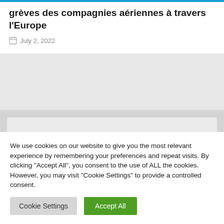grèves des compagnies aériennes à travers l'Europe
July 2, 2022
We use cookies on our website to give you the most relevant experience by remembering your preferences and repeat visits. By clicking "Accept All", you consent to the use of ALL the cookies. However, you may visit "Cookie Settings" to provide a controlled consent.